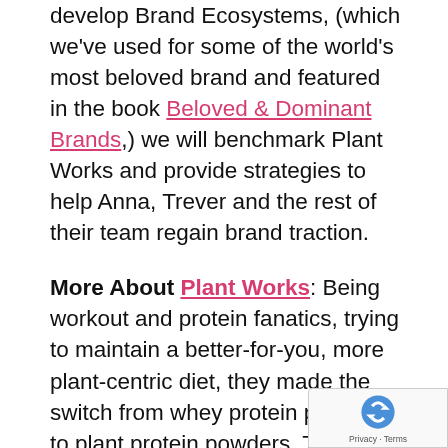develop Brand Ecosystems, (which we've used for some of the world's most beloved brand and featured in the book Beloved & Dominant Brands,) we will benchmark Plant Works and provide strategies to help Anna, Trever and the rest of their team regain brand traction.
More About Plant Works: Being workout and protein fanatics, trying to maintain a better-for-you, more plant-centric diet, they made the switch from whey protein powders to plant protein powders. They soon grew tired of drinking terrible tasting shakes, made with low-quality proteins that lacked the right ratio of essential amino acids to help our bodies recover, so they decided to make their own. 18 months and many failed attempts later, they finally built a formula tha...